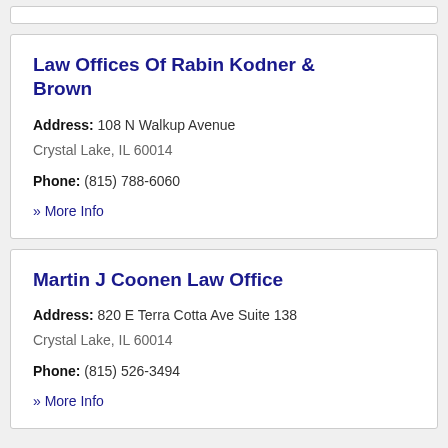Law Offices Of Rabin Kodner & Brown
Address: 108 N Walkup Avenue
Crystal Lake, IL 60014
Phone: (815) 788-6060
» More Info
Martin J Coonen Law Office
Address: 820 E Terra Cotta Ave Suite 138
Crystal Lake, IL 60014
Phone: (815) 526-3494
» More Info